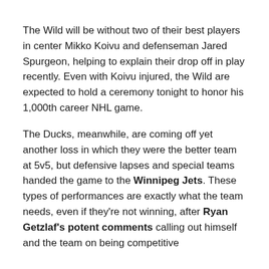The Wild will be without two of their best players in center Mikko Koivu and defenseman Jared Spurgeon, helping to explain their drop off in play recently. Even with Koivu injured, the Wild are expected to hold a ceremony tonight to honor his 1,000th career NHL game.
The Ducks, meanwhile, are coming off yet another loss in which they were the better team at 5v5, but defensive lapses and special teams handed the game to the Winnipeg Jets. These types of performances are exactly what the team needs, even if they're not winning, after Ryan Getzlaf's potent comments calling out himself and the team on being competitive